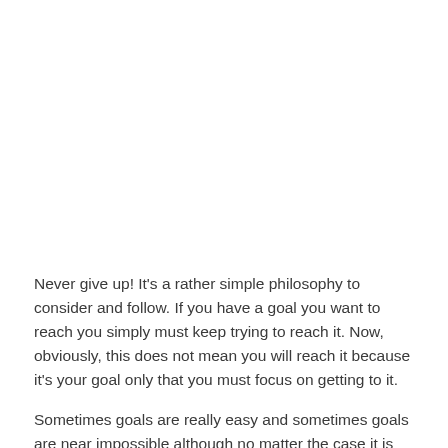Never give up! It's a rather simple philosophy to consider and follow. If you have a goal you want to reach you simply must keep trying to reach it. Now, obviously, this does not mean you will reach it because it's your goal only that you must focus on getting to it.
Sometimes goals are really easy and sometimes goals are near impossible although no matter the case it is still